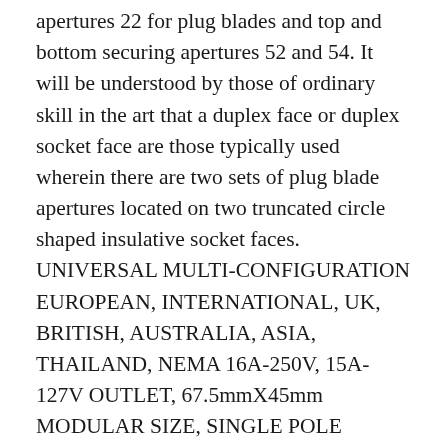apertures 22 for plug blades and top and bottom securing apertures 52 and 54. It will be understood by those of ordinary skill in the art that a duplex face or duplex socket face are those typically used wherein there are two sets of plug blade apertures located on two truncated circle shaped insulative socket faces. UNIVERSAL MULTI-CONFIGURATION EUROPEAN, INTERNATIONAL, UK, BRITISH, AUSTRALIA, ASIA, THAILAND, NEMA 16A-250V, 15A-127V OUTLET, 67.5mmX45mm MODULAR SIZE, SINGLE POLE SWITCH, SHUTTERED CONTACTS. EUROPEAN, INTERNATIONAL 20A-250V SINGLE POLE SWITCH, 22.5mmX45mm MODULAR SIZE. With surface wiring you can add outlets, switches and lights wherever you want easily and quickly, without tearing open a wall. Note: Insulated Wall Boxes, Surface